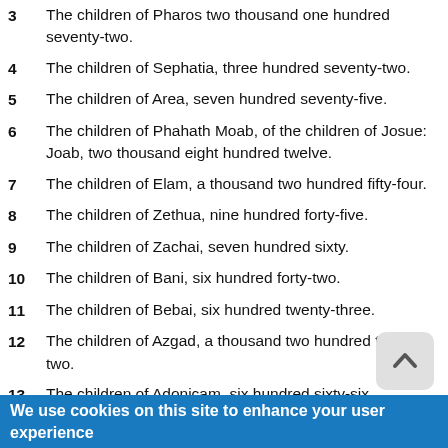3  The children of Pharos two thousand one hundred seventy-two.
4  The children of Sephatia, three hundred seventy-two.
5  The children of Area, seven hundred seventy-five.
6  The children of Phahath Moab, of the children of Josue: Joab, two thousand eight hundred twelve.
7  The children of Elam, a thousand two hundred fifty-four.
8  The children of Zethua, nine hundred forty-five.
9  The children of Zachai, seven hundred sixty.
10  The children of Bani, six hundred forty-two.
11  The children of Bebai, six hundred twenty-three.
12  The children of Azgad, a thousand two hundred twenty-two.
13  The children of Adonicam, six hundred sixty-six.
14  The children of Beguai, two thousand fifty-six.
15  The children of Adin, four hundred fifty-four.
We use cookies on this site to enhance your user experience